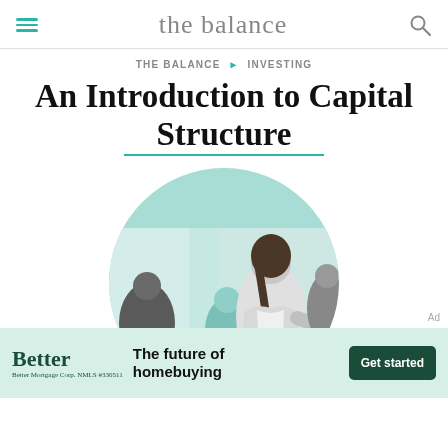the balance
THE BALANCE ▶ INVESTING
An Introduction to Capital Structure
[Figure (photo): A business professional woman smiling and shaking hands in a meeting room, with colleagues in background, rendered in teal/green tint, cropped in a circle]
Ad
Better — The future of homebuying — Get started. Better Mortgage Corp. NMLS #330511